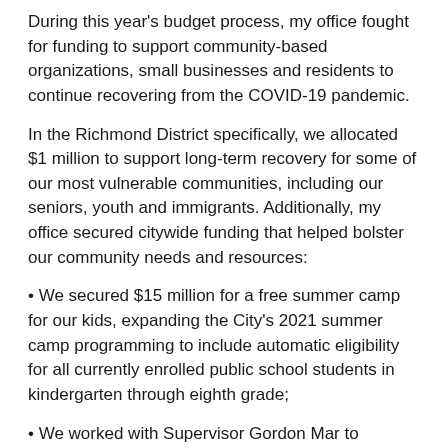During this year's budget process, my office fought for funding to support community-based organizations, small businesses and residents to continue recovering from the COVID-19 pandemic.
In the Richmond District specifically, we allocated $1 million to support long-term recovery for some of our most vulnerable communities, including our seniors, youth and immigrants. Additionally, my office secured citywide funding that helped bolster our community needs and resources:
• We secured $15 million for a free summer camp for our kids, expanding the City's 2021 summer camp programming to include automatic eligibility for all currently enrolled public school students in kindergarten through eighth grade;
• We worked with Supervisor Gordon Mar to continue funding housing programs and to expand the capacity to build and preserve affordable housing on the west side of San Francisco;
• We allocated close to $1 million to launch the Neighborhood Anchor Business program I authored, and we expanded the Legacy Business Fund so we can protect and promote our small businesses that have been serving our neighborhood's commercial corridors